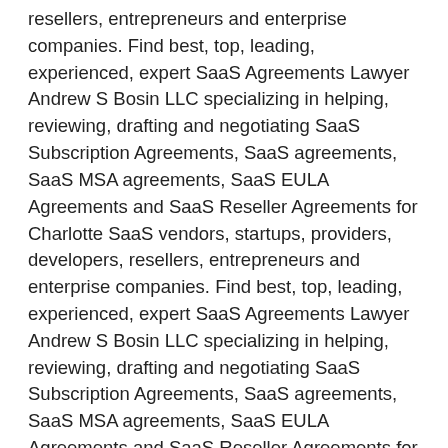resellers, entrepreneurs and enterprise companies. Find best, top, leading, experienced, expert SaaS Agreements Lawyer Andrew S Bosin LLC specializing in helping, reviewing, drafting and negotiating SaaS Subscription Agreements, SaaS agreements, SaaS MSA agreements, SaaS EULA Agreements and SaaS Reseller Agreements for Charlotte SaaS vendors, startups, providers, developers, resellers, entrepreneurs and enterprise companies. Find best, top, leading, experienced, expert SaaS Agreements Lawyer Andrew S Bosin LLC specializing in helping, reviewing, drafting and negotiating SaaS Subscription Agreements, SaaS agreements, SaaS MSA agreements, SaaS EULA Agreements and SaaS Reseller Agreements for Atlanta SaaS vendors, startups, providers, developers, resellers, entrepreneurs and enterprise companies. Find best, top, leading, experienced, expert SaaS Agreements Lawyer Andrew S Bosin LLC specializing in helping, reviewing, drafting and negotiating SaaS Subscription Agreements, SaaS agreements, SaaS MSA